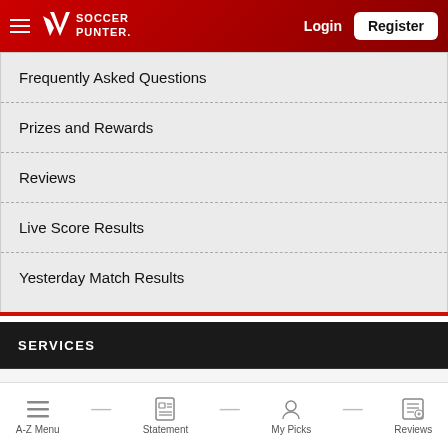Soccer Punter — Login | Register
Frequently Asked Questions
Prizes and Rewards
Reviews
Live Score Results
Yesterday Match Results
SERVICES
VIP Membership
A-Z Menu | Statement | My Picks | Reviews